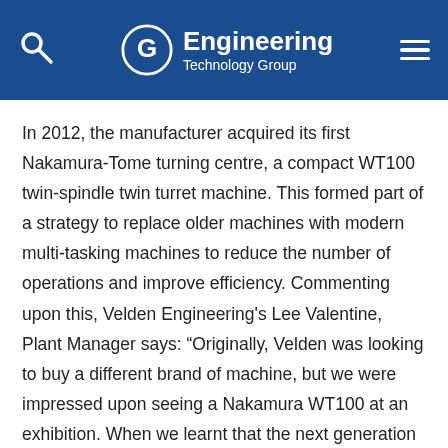Engineering Technology Group
In 2012, the manufacturer acquired its first Nakamura-Tome turning centre, a compact WT100 twin-spindle twin turret machine. This formed part of a strategy to replace older machines with modern multi-tasking machines to reduce the number of operations and improve efficiency. Commenting upon this, Velden Engineering's Lee Valentine, Plant Manager says: “Originally, Velden was looking to buy a different brand of machine, but we were impressed upon seeing a Nakamura WT100 at an exhibition. When we learnt that the next generation of this machine was about to be launched with a new large screen Windows-based control, the decision to purchase our first Nakamura, the WT100 was made on the back of it fitting perfectly with Velden’s Industry 4.0 aspirations. Velden became one of the first companies to take delivery of this next generation machine, which became an instant success. The